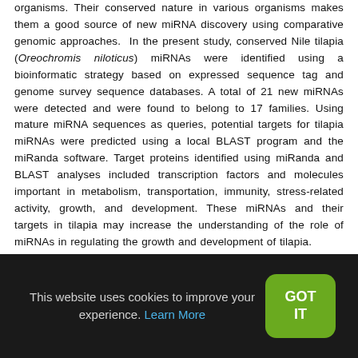organisms. Their conserved nature in various organisms makes them a good source of new miRNA discovery using comparative genomic approaches. In the present study, conserved Nile tilapia (Oreochromis niloticus) miRNAs were identified using a bioinformatic strategy based on expressed sequence tag and genome survey sequence databases. A total of 21 new miRNAs were detected and were found to belong to 17 families. Using mature miRNA sequences as queries, potential targets for tilapia miRNAs were predicted using a local BLAST program and the miRanda software. Target proteins identified using miRanda and BLAST analyses included transcription factors and molecules important in metabolism, transportation, immunity, stress-related activity, growth, and development. These miRNAs and their targets in tilapia may increase the understanding of the role of miRNAs in regulating the growth and development of tilapia. MicroRNAs (miRNAs) are a class of non-coding RNAs that play
This website uses cookies to improve your experience. Learn More